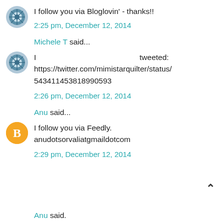I follow you via Bloglovin' - thanks!!
2:25 pm, December 12, 2014
Michele T said...
I tweeted: https://twitter.com/mimistarquilter/status/543411453818990593
2:26 pm, December 12, 2014
Anu said...
I follow you via Feedly. anudotsorvaliatgmaildotcom
2:29 pm, December 12, 2014
Anu said...